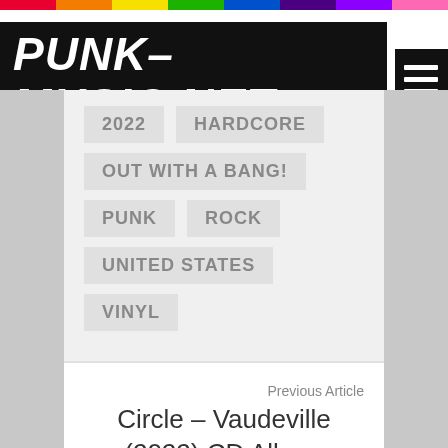PUNK-MUSIC.NET
2022
HARDCORE
OUT WITH A BANG!
PUNK
ROCK
UNITED STATES
VINYL
Previous Article
Circle – Vaudeville (2022) CD Album
Next Article